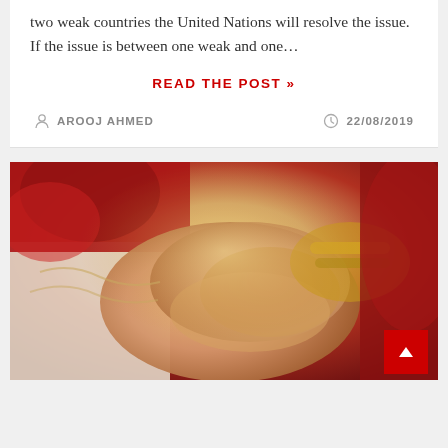two weak countries the United Nations will resolve the issue. If the issue is between one weak and one…
READ THE POST »
AROOJ AHMED   22/08/2019
[Figure (photo): Close-up photo of a South Asian wedding ceremony showing the clasped hands of a bride and groom. The bride has henna/mehndi on her hands and is wearing gold bridal jewelry and a red outfit. The groom is wearing white with embroidery.]